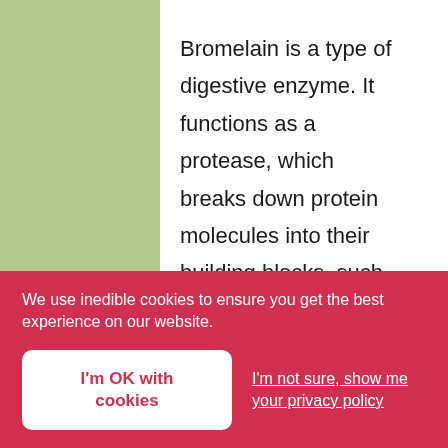Bromelain is a type of digestive enzyme. It functions as a protease, which breaks down protein molecules into their building blocks, such as amino acids and small peptides. Once protein molecules are broken down, they are more easily absorbed across the small
We use inedible cookies to ensure you get the best experience on our website.
I'm OK with cookies
I'm not sure, show me your privacy policy